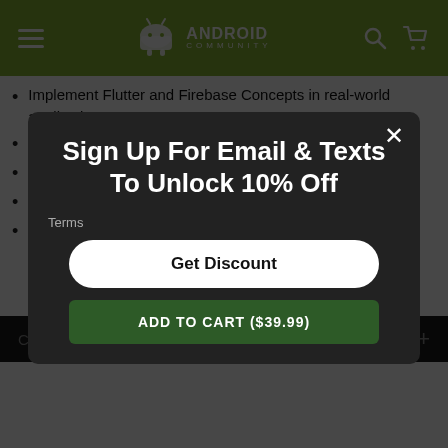Android Community
Implement Flutter and Firebase Concepts in real-world applications
Upload, remove, & retrieve data stored in Cloud Firestore
Create the layout of the chat app screen
Implement search functionality
Cache images to improve user experience
Course Outline
Sign Up For Email & Texts To Unlock 10% Off
Terms
Get Discount
ADD TO CART ($39.99)